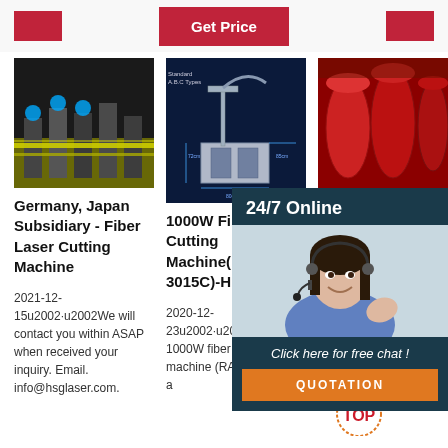[Figure (screenshot): Top bar with red 'Get Price' button in center, red buttons on left and right sides]
[Figure (photo): Laser cutting machine operating on yellow surface - left column product image]
[Figure (photo): 1000W Fiber Laser Cutting Machine diagram/schematic on dark blue background - middle column image]
[Figure (photo): Red industrial barrels/containers - right column product image]
[Figure (infographic): 24/7 Online chat overlay with female agent wearing headset, 'Click here for free chat!' text, and orange QUOTATION button]
Germany, Japan Subsidiary - Fiber Laser Cutting Machine
2021-12-15u2002·u2002We will contact you within ASAP when received your inquiry. Email. info@hsglaser.com.
1000W Fiber Laser Cutting Machine(RAS-3015C)-High ...
2020-12-23u2002·u2002This 1000W fiber laser cutting machine (RAS-3015C) is a
lk-las... LK-S...
LK las... focused machines R & D, manufacturing, sales and service of one stop service for more than 10 years. Over